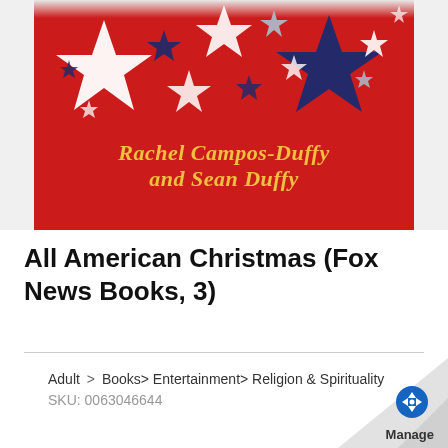[Figure (illustration): Book cover for 'All American Christmas' on a red background with white, navy, and light blue stars scattered across the top. Author names 'Rachel Campos-Duffy and Sean Duffy' are written in gold italic serif font at the bottom of the cover.]
All American Christmas (Fox News Books, 3)
Adult > Books > Entertainment > Religion & Spirituality
SKU: 0063046644